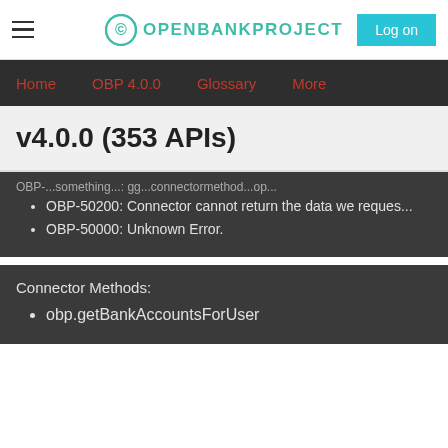OPENBANKPROJECT | Log on
Home | OBP 4.0.0 | Glossary | More
v4.0.0 (353 APIs)
OBP-50200: Connector cannot return the data we reques...
OBP-50000: Unknown Error.
Connector Methods:
obp.getBankAccountsForUser